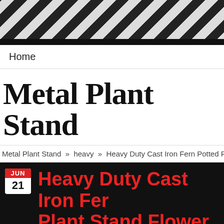[Figure (other): Diagonal black and white stripe pattern header banner]
Home
Metal Plant Stand
Metal Plant Stand » heavy » Heavy Duty Cast Iron Fern Potted Plant Stand Flower
Heavy Duty Cast Iron Fern Potted Plant Stand Flower Pot Ho Rack
[Figure (infographic): Social sharing buttons bar: Twitter, Facebook, Email, WhatsApp, SMS, More]